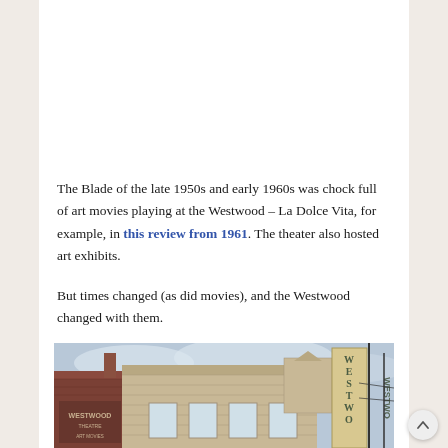The Blade of the late 1950s and early 1960s was chock full of art movies playing at the Westwood – La Dolce Vita, for example, in this review from 1961. The theater also hosted art exhibits.
But times changed (as did movies), and the Westwood changed with them.
[Figure (photo): Street-level photograph showing the exterior of the Westwood theater building, a weathered stone/brick structure with a vertical sign reading 'WESTWOOD' on the right side, taken from a low angle showing the roofline against a partly cloudy sky.]